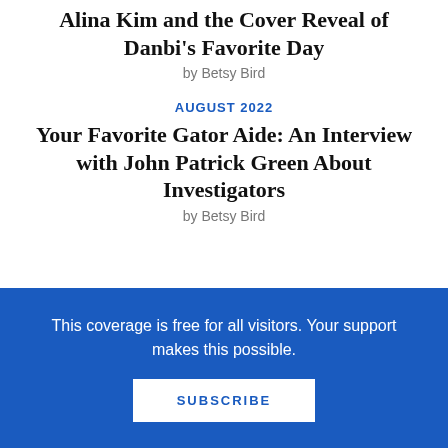Alina Kim and the Cover Reveal of Danbi's Favorite Day
by Betsy Bird
AUGUST 2022
Your Favorite Gator Aide: An Interview with John Patrick Green About Investigators
by Betsy Bird
AUGUST 2022
Supper Time! A Delicious "How To Eat a
This coverage is free for all visitors. Your support makes this possible.
SUBSCRIBE